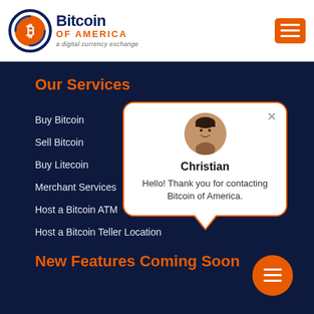[Figure (logo): Bitcoin of America logo with circular Bitcoin icon, dark navy 'Bitcoin' text, orange 'OF AMERICA' subtitle, and italic tagline 'a digital currency exchange']
[Figure (other): Orange hamburger menu button (three horizontal white lines)]
Our Services
Buy Bitcoin
Sell Bitcoin
Buy Litecoin
Merchant Services
Host a Bitcoin ATM
Host a Bitcoin Teller Location
[Figure (other): Chat popup with avatar photo of Christian (dark-haired man), name 'Christian', and message 'Hello! Thank you for contacting Bitcoin of America.']
New Features Coming Soon
[Figure (other): Orange round chat/message button with white lines icon at bottom right]